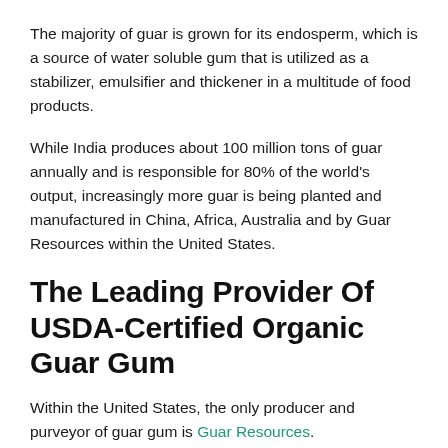The majority of guar is grown for its endosperm, which is a source of water soluble gum that is utilized as a stabilizer, emulsifier and thickener in a multitude of food products.
While India produces about 100 million tons of guar annually and is responsible for 80% of the world's output, increasingly more guar is being planted and manufactured in China, Africa, Australia and by Guar Resources within the United States.
The Leading Provider Of USDA-Certified Organic Guar Gum
Within the United States, the only producer and purveyor of guar gum is Guar Resources.